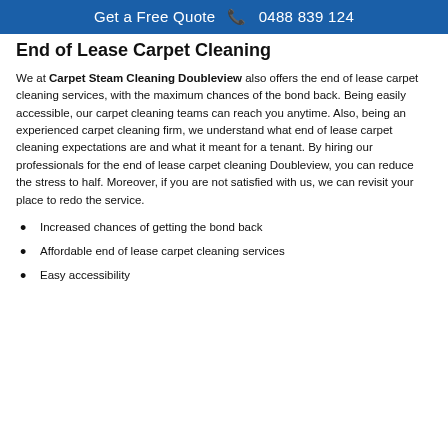Get a Free Quote 📞 0488 839 124
End of Lease Carpet Cleaning
We at Carpet Steam Cleaning Doubleview also offers the end of lease carpet cleaning services, with the maximum chances of the bond back. Being easily accessible, our carpet cleaning teams can reach you anytime. Also, being an experienced carpet cleaning firm, we understand what end of lease carpet cleaning expectations are and what it meant for a tenant. By hiring our professionals for the end of lease carpet cleaning Doubleview, you can reduce the stress to half. Moreover, if you are not satisfied with us, we can revisit your place to redo the service.
Increased chances of getting the bond back
Affordable end of lease carpet cleaning services
Easy accessibility